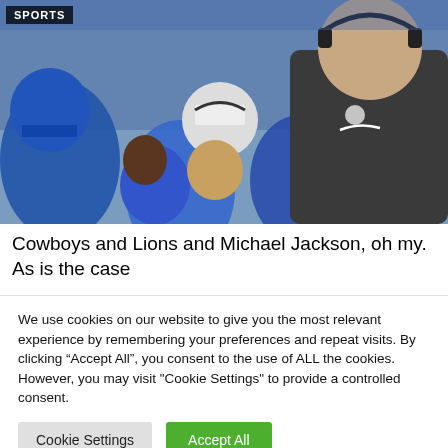[Figure (photo): Football coach wearing headset and dark Nike polo with Lions logo, surrounded by players in blue Detroit Lions uniforms on the sideline]
SPORTS
Cowboys and Lions and Michael Jackson, oh my. As is the case with "hard knocks" the cameras always go to...
We use cookies on our website to give you the most relevant experience by remembering your preferences and repeat visits. By clicking “Accept All”, you consent to the use of ALL the cookies. However, you may visit "Cookie Settings" to provide a controlled consent.
Cookie Settings | Accept All